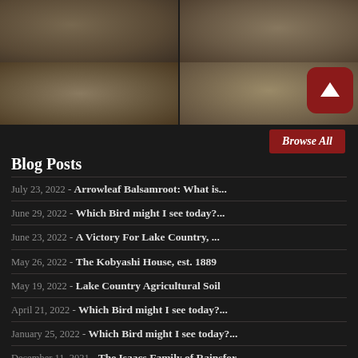[Figure (photo): Grid of four historic sepia-toned photographs arranged in two rows of two]
Blog Posts
July 23, 2022 - Arrowleaf Balsamroot: What is...
June 29, 2022 - Which Bird might I see today?...
June 23, 2022 - A Victory For Lake Country, ...
May 26, 2022 - The Kobyashi House, est. 1889
May 19, 2022 - Lake Country Agricultural Soil
April 21, 2022 - Which Bird might I see today?...
January 25, 2022 - Which Bird might I see today?...
December 11, 2021 - The Isaacs Family of Rainsfor...
October 3, 2021 - Which Bird might I see today?...